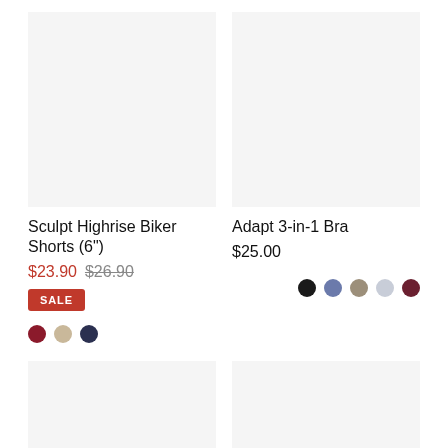[Figure (photo): Product image placeholder for Sculpt Highrise Biker Shorts, light gray background]
[Figure (photo): Product image placeholder for Adapt 3-in-1 Bra, light gray background]
Sculpt Highrise Biker Shorts (6")
$23.90  $26.90
SALE
Adapt 3-in-1 Bra
$25.00
[Figure (photo): Product image placeholder bottom left, light gray background]
[Figure (photo): Product image placeholder bottom right, light gray background]